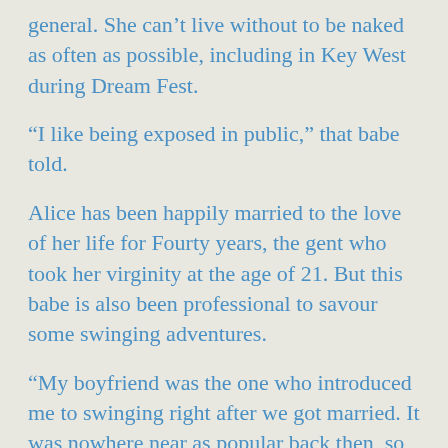general. She can’t live without to be naked as often as possible, including in Key West during Dream Fest.
“I like being exposed in public,” that babe told.
Alice has been happily married to the love of her life for Fourty years, the gent who took her virginity at the age of 21. But this babe is also been professional to savour some swinging adventures.
“My boyfriend was the one who introduced me to swinging right after we got married. It was nowhere near as popular back then, so to me that was truly potty. But eventually I gave in and attempted it, and I am so pleased I did. This ladies man is great, but I can’t imagine having lived a regular, vanilla, boring life all these years with just one jock. Getting to screw other people is great, and it is even better when your